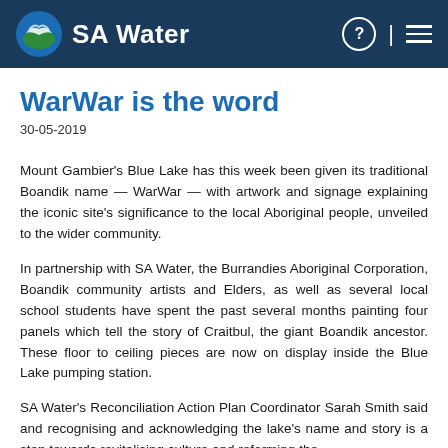SA Water
WarWar is the word
30-05-2019
Mount Gambier's Blue Lake has this week been given its traditional Boandik name — WarWar — with artwork and signage explaining the iconic site's significance to the local Aboriginal people, unveiled to the wider community.
In partnership with SA Water, the Burrandies Aboriginal Corporation, Boandik community artists and Elders, as well as several local school students have spent the past several months painting four panels which tell the story of Craitbul, the giant Boandik ancestor. These floor to ceiling pieces are now on display inside the Blue Lake pumping station.
SA Water's Reconciliation Action Plan Coordinator Sarah Smith said and recognising and acknowledging the lake's name and story is a step towards revitalising culture and reforming the